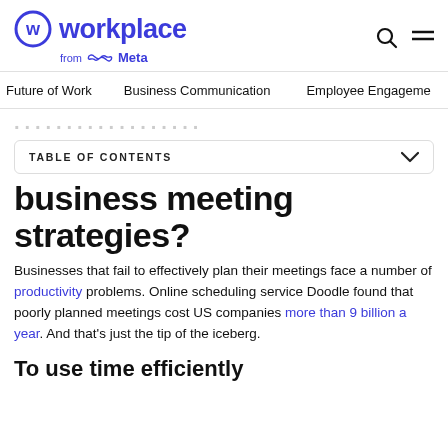Workplace from Meta
Future of Work  Business Communication  Employee Engagement
business meeting strategies?
Businesses that fail to effectively plan their meetings face a number of productivity problems. Online scheduling service Doodle found that poorly planned meetings cost US companies more than 9 billion a year. And that’s just the tip of the iceberg.
To use time efficiently